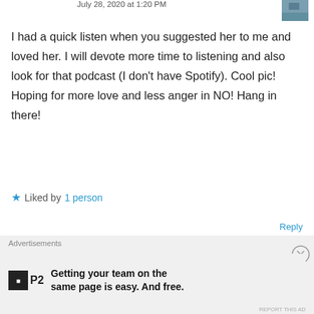July 28, 2020 at 1:20 PM
I had a quick listen when you suggested her to me and loved her. I will devote more time to listening and also look for that podcast (I don't have Spotify). Cool pic! Hoping for more love and less anger in NO! Hang in there!
★ Liked by 1 person
Reply
Ray Laskowitz
July 28, 2020 at 3:47 PM
Advertisements
Getting your team on the same page is easy. And free.